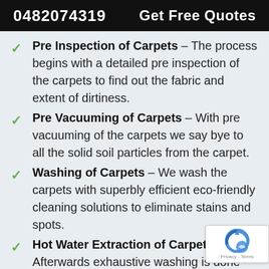0482074319   Get Free Quotes
Pre Inspection of Carpets – The process begins with a detailed pre inspection of the carpets to find out the fabric and extent of dirtiness.
Pre Vacuuming of Carpets – With pre vacuuming of the carpets we say bye to all the solid soil particles from the carpet.
Washing of Carpets – We wash the carpets with superbly efficient eco-friendly cleaning solutions to eliminate stains and spots.
Hot Water Extraction of Carpets – Afterwards exhaustive washing is done using hot water extraction. Here we use cleaning solutions with hot water under high pressure to clean the carpets from deep within. This helps in getting rid of embedded contaminants and removing moisture